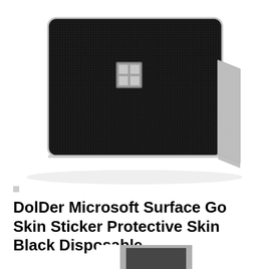[Figure (photo): Microsoft Surface Go tablet standing on its kickstand, covered with a black carbon fiber texture skin/sticker on the back. The device is shown from the rear, with the Windows logo visible in silver in the center of the black textured surface. The kickstand is open at the bottom right.]
DolDer Microsoft Surface Go Skin Sticker Protective Skin Black Disposable
[Figure (photo): Partial view of a Microsoft Surface Go tablet from the side/front showing the silver/grey device, partially cut off at the bottom of the page.]